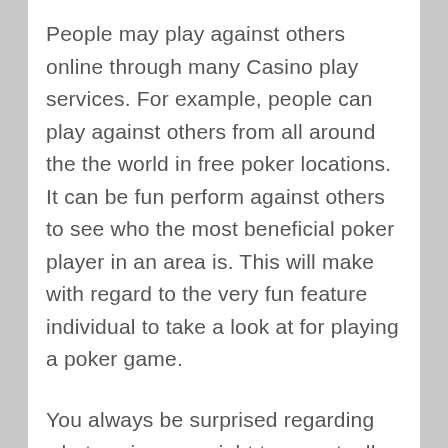People may play against others online through many Casino play services. For example, people can play against others from all around the the world in free poker locations. It can be fun perform against others to see who the most beneficial poker player in an area is. This will make with regard to the very fun feature individual to take a look at for playing a poker game.
You always be surprised regarding what casino overnight tours actually cost anybody. Based upon a double occupancy room, may end up costing you less than $100 per person. Could possibly include the room itself and also your transportation to and from the casino. There are also many perks provided from the different